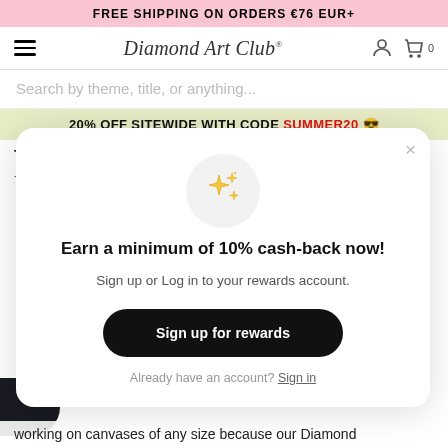FREE SHIPPING ON ORDERS €76 EUR+
Diamond Art Club
Search by theme, title, or anything...
20% OFF SITEWIDE WITH CODE SUMMER20 😎
The Best Diamond Painting Light Pad
-
[Figure (illustration): Stars sparkle icon inside a light grey circle]
Earn a minimum of 10% cash-back now!
Sign up or Log in to your rewards account.
Sign up for rewards
Already have an account? Sign in
working on canvases of any size because our Diamond